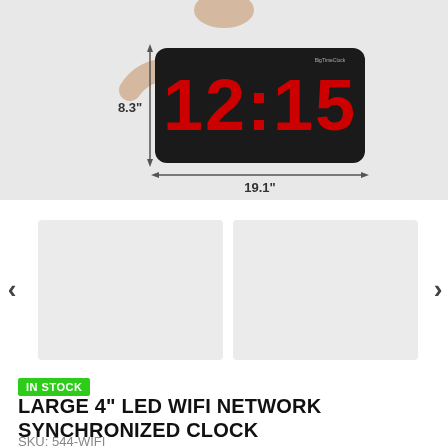[Figure (photo): Product photo of a large LED wall clock showing 12:15 in red digits on a black rectangular display. A person holds the clock. Dimension arrows show 8.3 inches height and 19.1 inches width.]
[Figure (photo): Two thumbnail product images side by side with left and right navigation arrows.]
IN STOCK
LARGE 4" LED WIFI NETWORK SYNCHRONIZED CLOCK
SKU: 544-WIFI